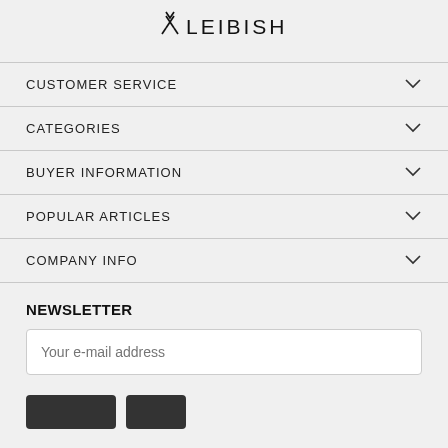[Figure (logo): Leibish logo with stylized arrow/star mark and LEIBISH text]
CUSTOMER SERVICE
CATEGORIES
BUYER INFORMATION
POPULAR ARTICLES
COMPANY INFO
NEWSLETTER
Your e-mail address